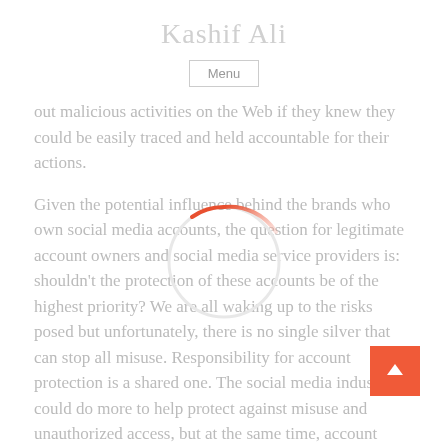Kashif Ali
Menu
out malicious activities on the Web if they knew they could be easily traced and held accountable for their actions.
Given the potential influence behind the brands who own social media accounts, the question for legitimate account owners and social media service providers is: shouldn't the protection of these accounts be of the highest priority? We are all waking up to the risks posed but unfortunately, there is no single silver that can stop all misuse. Responsibility for account protection is a shared one. The social media industry could do more to help protect against misuse and unauthorized access, but at the same time, account
[Figure (other): Circular loading spinner with orange-red arc on top-left portion of circle outline, white/light gray background.]